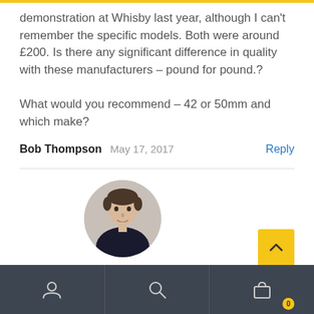demonstration at Whisby last year, although I can't remember the specific models. Both were around £200. Is there any significant difference in quality with these manufacturers – pound for pound.?
What would you recommend – 42 or 50mm and which make?
Bob Thompson   May 17, 2017   Reply
[Figure (photo): Circular avatar photo of a man with short dark hair]
[Figure (other): Yellow scroll-to-top button with upward chevron arrow]
Bottom navigation bar with user icon, search icon, and shopping bag icon with badge showing 0